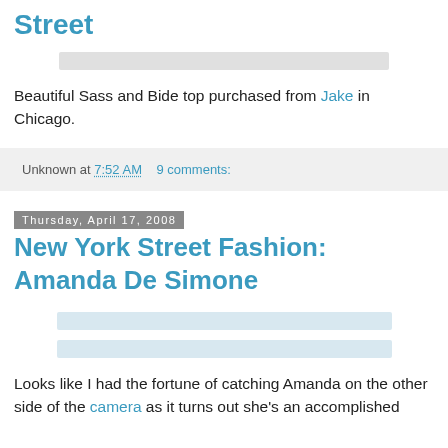Street
[Figure (photo): Image placeholder for a fashion photo]
Beautiful Sass and Bide top purchased from Jake in Chicago.
Unknown at 7:52 AM   9 comments:
Thursday, April 17, 2008
New York Street Fashion: Amanda De Simone
[Figure (photo): Image placeholder 1 for Amanda De Simone post]
[Figure (photo): Image placeholder 2 for Amanda De Simone post]
Looks like I had the fortune of catching Amanda on the other side of the camera as it turns out she's an accomplished